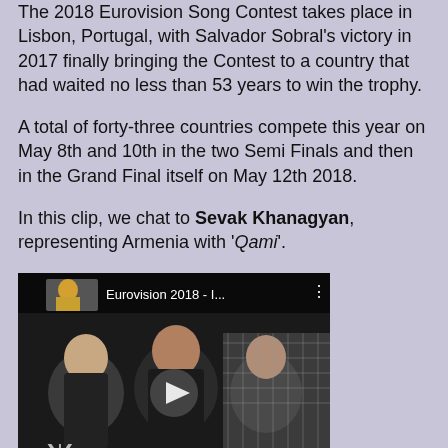The 2018 Eurovision Song Contest takes place in Lisbon, Portugal, with Salvador Sobral's victory in 2017 finally bringing the Contest to a country that had waited no less than 53 years to win the trophy.
A total of forty-three countries compete this year on May 8th and 10th in the two Semi Finals and then in the Grand Final itself on May 12th 2018.
In this clip, we chat to Sevak Khanagyan, representing Armenia with 'Qami'.
[Figure (screenshot): Embedded YouTube video thumbnail showing Eurovision 2018 interview with Sevak Khanagyan, with video title 'Eurovision 2018 - I...' and a play button overlay. Scene shows people in dark clothing being interviewed outdoors.]